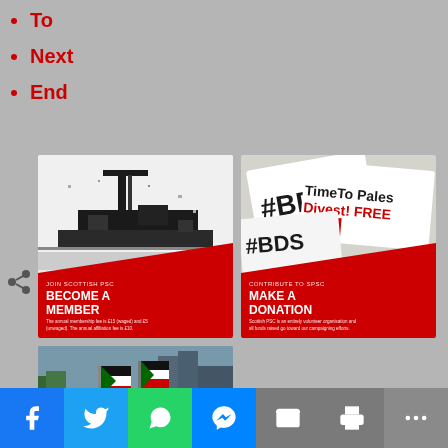To
Next
End
[Figure (photo): Card with black and white photo of a ship/crane and red diagonal overlay with text 'JOIN SCOTTISH PSC - BECOME A MEMBER']
[Figure (photo): Card with photo of BDS stickers and red diagonal overlay with text 'CONTRIBUTE TO SPSC - MAKE A DONATION']
[Figure (photo): Card with photo of Palestinian flag protest march and red diagonal overlay]
Facebook | Twitter | WhatsApp | Messenger | Email | Print | More